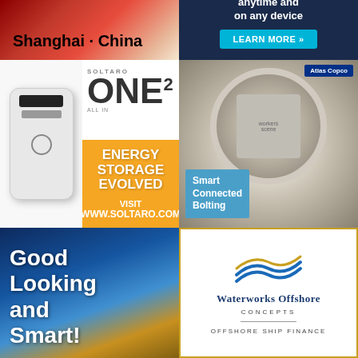[Figure (photo): Shanghai China advertisement banner with red/gold gradient background and bold text]
[Figure (photo): Dark navy background advertisement with 'anytime and on any device' text and LEARN MORE button]
[Figure (photo): Soltaro ONE2 energy storage device advertisement with white battery unit and orange panel reading ENERGY STORAGE EVOLVED, VISIT WWW.SOLTARO.COM]
[Figure (photo): Atlas Copco Smart Connected Bolting advertisement showing aerial view of workers in circular structure]
[Figure (photo): Good Looking and Smart solar panel advertisement with blue sky background]
[Figure (photo): Waterworks Offshore Concepts advertisement with gold border, wave logo, company name, and OFFSHORE SHIP FINANCE text]